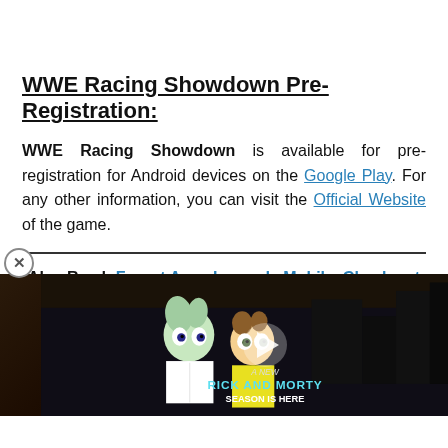WWE Racing Showdown Pre-Registration:
WWE Racing Showdown is available for pre-registration for Android devices on the Google Play. For any other information, you can visit the Official Website of the game.
Also Read: Forget Apex Legends Mobile, Check out 'Farlight 84' Coming in 2021
[Figure (screenshot): Video ad thumbnail showing Rick and Morty animation still with play button overlay and text 'A NEW RICK AND MORTY SEASON IS HERE']